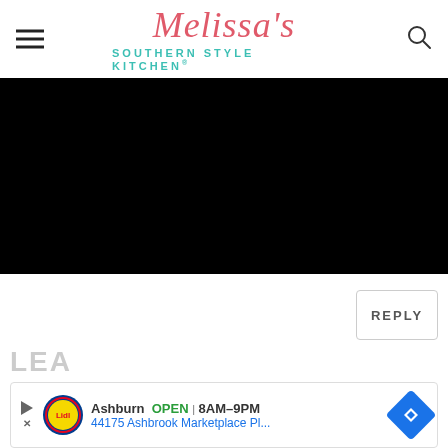Melissa's Southern Style Kitchen®
[Figure (photo): Large black/dark image area (hero photo, content not visible)]
REPLY
LEA
[Figure (other): Advertisement banner: Lidl logo, Ashburn OPEN 8AM-9PM, 44175 Ashbrook Marketplace Pl..., navigation icon]